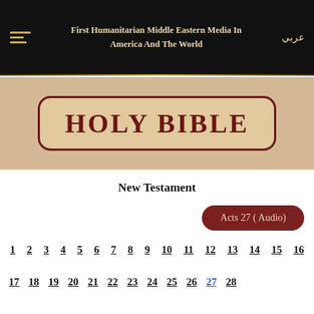First Humanitarian Middle Eastern Media In America And The World | عربي
HOLY BIBLE
New Testament
Acts 27 ( Audio)
1 2 3 4 5 6 7 8 9 10 11 12 13 14 15 16
17 18 19 20 21 22 23 24 25 26 27 28